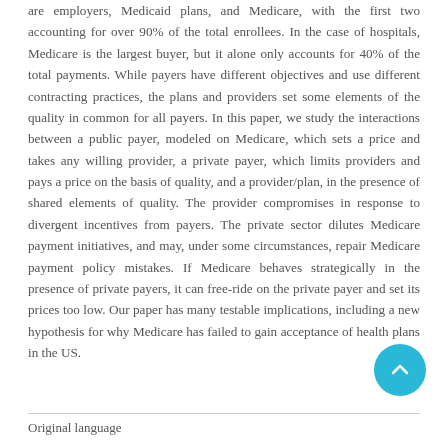are employers, Medicaid plans, and Medicare, with the first two accounting for over 90% of the total enrollees. In the case of hospitals, Medicare is the largest buyer, but it alone only accounts for 40% of the total payments. While payers have different objectives and use different contracting practices, the plans and providers set some elements of the quality in common for all payers. In this paper, we study the interactions between a public payer, modeled on Medicare, which sets a price and takes any willing provider, a private payer, which limits providers and pays a price on the basis of quality, and a provider/plan, in the presence of shared elements of quality. The provider compromises in response to divergent incentives from payers. The private sector dilutes Medicare payment initiatives, and may, under some circumstances, repair Medicare payment policy mistakes. If Medicare behaves strategically in the presence of private payers, it can free-ride on the private payer and set its prices too low. Our paper has many testable implications, including a new hypothesis for why Medicare has failed to gain acceptance of health plans in the US.
Original language